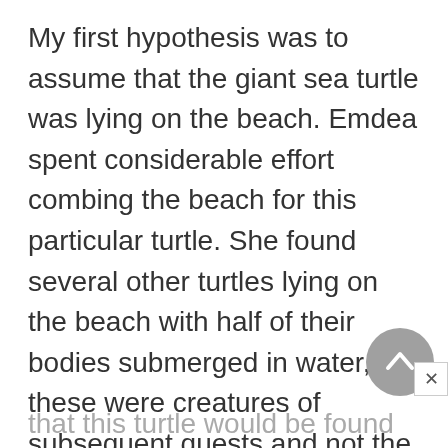My first hypothesis was to assume that the giant sea turtle was lying on the beach. Emdea spent considerable effort combing the beach for this particular turtle. She found several other turtles lying on the beach with half of their bodies submerged in water, but these were creatures of subsequent quests and not the giant creature that Gwennyth Bly'Leggonde wanted. My second hypothesis was that this turtle would be found on the